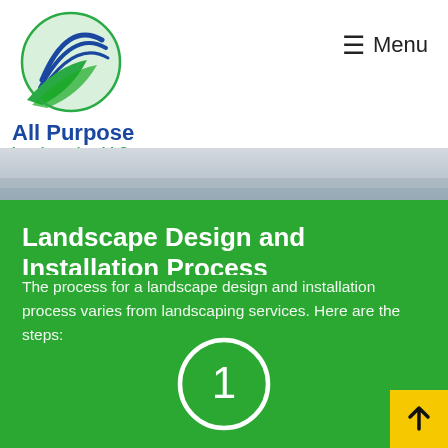[Figure (logo): All Purpose Landscaping LLC logo — circular blue and green swoosh icon above company name text]
≡ Menu
[Figure (photo): Gray hero banner image showing landscape background]
Landscape Design and Installation Process
The process for a landscape design and installation process varies from landscaping services. Here are the steps:
[Figure (infographic): White circle with number 1 inside, on green background]